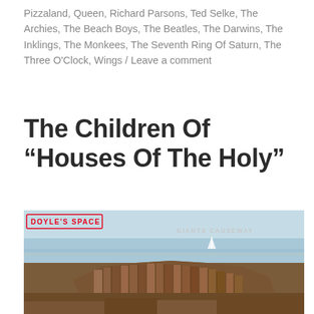Pizzaland, Queen, Richard Parsons, Ted Selke, The Archies, The Beach Boys, The Beatles, The Darwins, The Inklings, The Monkees, The Seventh Ring Of Saturn, The Three O'Clock, Wings / Leave a comment
The Children Of “Houses Of The Holy”
[Figure (photo): Photo of Giant's Causeway rocky formation by the sea, with 'Doyle's Space' text overlay on left in red and 'Giants Causeway' text overlay on right in light gray. Hexagonal basalt columns forming a large mound near the ocean.]